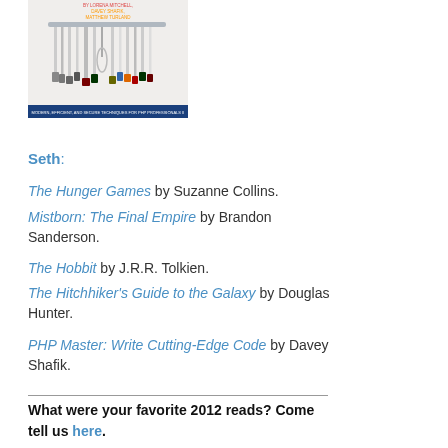[Figure (photo): Book cover of PHP Master: Write Cutting-Edge Code showing knives on a magnetic strip rack]
Seth:
The Hunger Games by Suzanne Collins.
Mistborn: The Final Empire by Brandon Sanderson.
The Hobbit by J.R.R. Tolkien.
The Hitchhiker's Guide to the Galaxy by Douglas Hunter.
PHP Master: Write Cutting-Edge Code by Davey Shafik.
What were your favorite 2012 reads? Come tell us here.